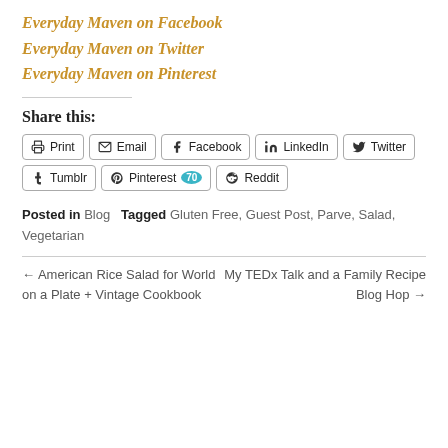Everyday Maven on Facebook
Everyday Maven on Twitter
Everyday Maven on Pinterest
Share this:
Print  Email  Facebook  LinkedIn  Twitter  Tumblr  Pinterest 70  Reddit
Posted in Blog  Tagged Gluten Free, Guest Post, Parve, Salad, Vegetarian
← American Rice Salad for World on a Plate + Vintage Cookbook   My TEDx Talk and a Family Recipe Blog Hop →